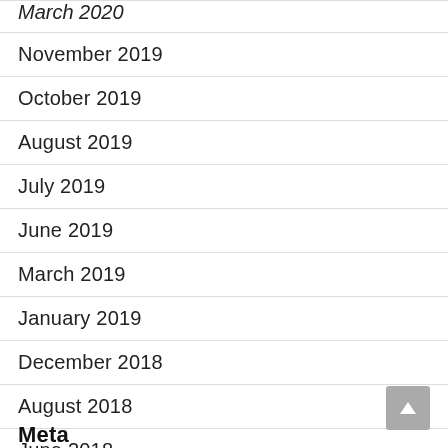March 2020
November 2019
October 2019
August 2019
July 2019
June 2019
March 2019
January 2019
December 2018
August 2018
June 2018
August 2017
Meta